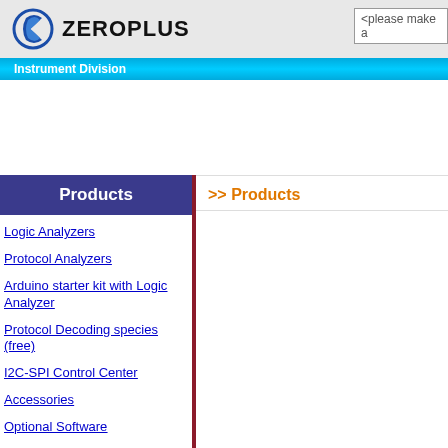[Figure (logo): Zeroplus logo with circular swoosh icon and bold ZEROPLUS text]
<please make a
Instrument Division
Products
>> Products
Logic Analyzers
Protocol Analyzers
Arduino starter kit with Logic Analyzer
Protocol Decoding species (free)
I2C-SPI Control Center
Accessories
Optional Software
Discontinued product